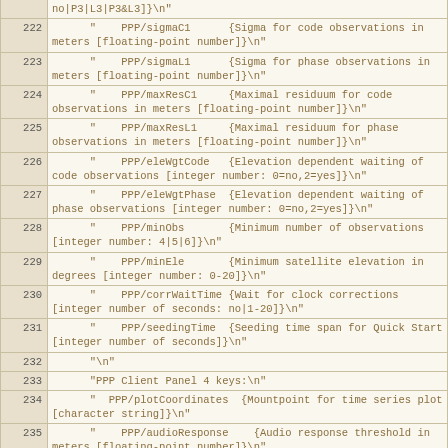| line | code |
| --- | --- |
|  | no|P3|L3|P3&L3]}\n" |
| 222 | "    PPP/sigmaC1      {Sigma for code observations in meters [floating-point number]}\n" |
| 223 | "    PPP/sigmaL1      {Sigma for phase observations in meters [floating-point number]}\n" |
| 224 | "    PPP/maxResC1     {Maximal residuum for code observations in meters [floating-point number]}\n" |
| 225 | "    PPP/maxResL1     {Maximal residuum for phase observations in meters [floating-point number]}\n" |
| 226 | "    PPP/eleWgtCode   {Elevation dependent waiting of code observations [integer number: 0=no,2=yes]}\n" |
| 227 | "    PPP/eleWgtPhase  {Elevation dependent waiting of phase observations [integer number: 0=no,2=yes]}\n" |
| 228 | "    PPP/minObs       {Minimum number of observations [integer number: 4|5|6]}\n" |
| 229 | "    PPP/minEle       {Minimum satellite elevation in degrees [integer number: 0-20]}\n" |
| 230 | "    PPP/corrWaitTime {Wait for clock corrections [integer number of seconds: no|1-20]}\n" |
| 231 | "    PPP/seedingTime  {Seeding time span for Quick Start [integer number of seconds]}\n" |
| 232 | "\n" |
| 233 | "PPP Client Panel 4 keys:\n" |
| 234 | "  PPP/plotCoordinates  {Mountpoint for time series plot [character string]}\n" |
| 235 | "    PPP/audioResponse    {Audio response threshold in meters [floating-point number]}\n" |
| 236 | "    PPP/useOpenStreetMap {OSM track map [character string: true|false]}\n" |
| 237 | "    PPP/useGoogleMap     {Google track map [character string: true|false]}\n" |
| 238 | "    PPP/mapWinDotSize    {Size of dots on map |